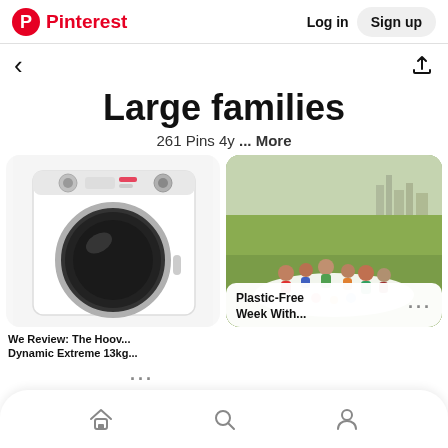Pinterest  Log in  Sign up
Large families
261 Pins 4y ... More
[Figure (photo): White front-loading washing machine (Hoover Dynamic Extreme 13kg) on white background]
[Figure (photo): Group of children having a picnic outdoors on a blanket on grass, with city skyline in background]
We Review: The Hoov... Dynamic Extreme 13kg...
Plastic-Free Week With...
Home  Search  Profile navigation icons